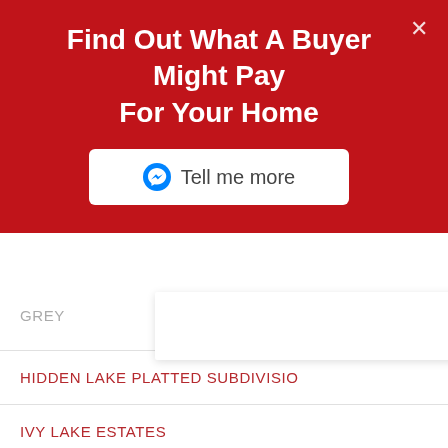Find Out What A Buyer Might Pay For Your Home
[Figure (screenshot): Tell me more button with Messenger icon on white rounded rectangle background]
GREY
HIDDEN LAKE PLATTED SUBDIVISIO
IVY LAKE ESTATES
KEYSTON PARK COLONY
KEYSTONE CROSSINGS
KEYSTONE PARK
KEYSTONE PARK COLONY LAND CO